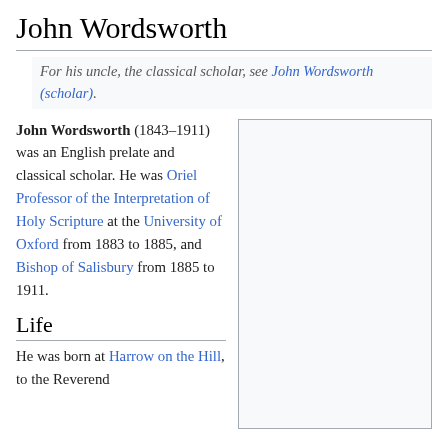John Wordsworth
For his uncle, the classical scholar, see John Wordsworth (scholar).
John Wordsworth (1843–1911) was an English prelate and classical scholar. He was Oriel Professor of the Interpretation of Holy Scripture at the University of Oxford from 1883 to 1885, and Bishop of Salisbury from 1885 to 1911.
[Figure (other): Infobox placeholder image (light gray rectangle)]
Life
He was born at Harrow on the Hill, to the Reverend